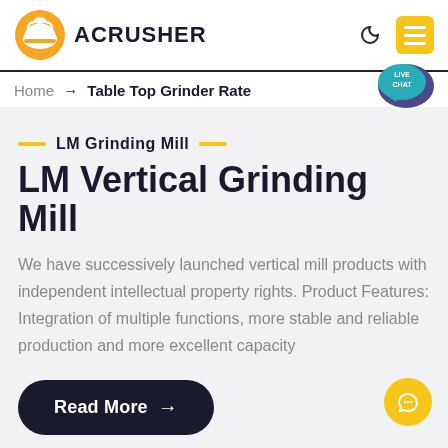ACRUSHER
Home → Table Top Grinder Rate
LM Grinding Mill
LM Vertical Grinding Mill
We have successively launched vertical mill products with independent intellectual property rights. Product Features: Integration of multiple functions, more stable and reliable production and more excellent capacity
Read More →